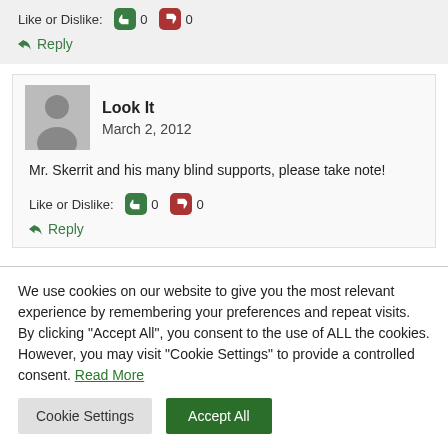Like or Dislike: 0 0
Reply
Look It
March 2, 2012
Mr. Skerrit and his many blind supports, please take note!
Like or Dislike: 0 0
Reply
We use cookies on our website to give you the most relevant experience by remembering your preferences and repeat visits. By clicking "Accept All", you consent to the use of ALL the cookies. However, you may visit "Cookie Settings" to provide a controlled consent. Read More
Cookie Settings
Accept All